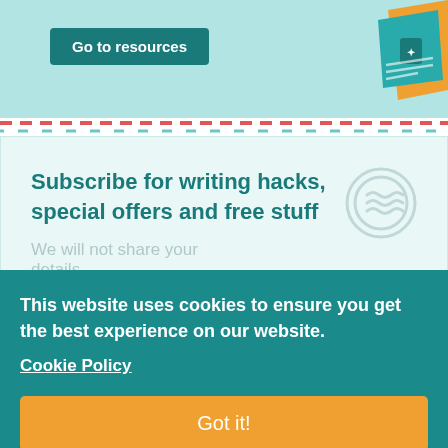[Figure (illustration): Light teal banner with 'Go to resources' teal button and a graphic of a book/resource on the right side]
Go to resources
Subscribe for writing hacks, special offers and free stuff
We will not share your details.
This website uses cookies to ensure you get the best experience on our website.
Cookie Policy
Got it!
Grammar Guide